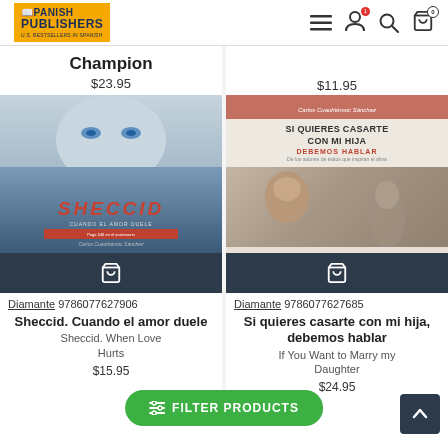[Figure (screenshot): Spanish Publishers website header with logo, hamburger menu, user icon with red notification dot, search icon, and cart icon with 0 badge]
Champion $23.95
$11.95
[Figure (photo): Book cover for Sheccid by Carlos Cuauhtémoc Sánchez, featuring a woman's face with blue eyes on a blue-grey background, with the title SHECCID in red italic letters]
[Figure (photo): Book cover for Si quieres casarte con mi hija, debemos hablar by Carlos Cuauhtémoc Sánchez, featuring a pink header with author name, title in dark text, red subtitle text, and photo of a man and a woman silhouette]
Diamante 9786077627906
Diamante 9786077627685
Sheccid. Cuando el amor duele
Si quieres casarte con mi hija, debemos hablar
Sheccid. When Love Hurts
If You Want to Marry my Daughter
$15.95
$24.95